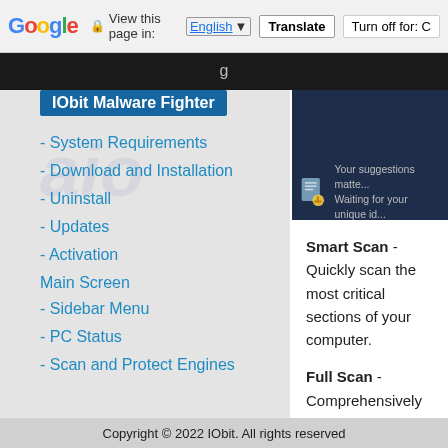Google  View this page in: English ▼  Translate  Turn off for: C
Select Language
IObit Malware Fighter
- System Requirements
- Download and Installation
- Uninstall
- Updates
- Activation
Main Screen
- Sidebar Menu
- PC Status
- Scan and Protect Engines
[Figure (screenshot): Dark blue screenshot panel with suggestion text: Your suggestions matter. Waiting for your unique id]
Smart Scan - Quickly scan the most critical sections of your computer.
Full Scan - Comprehensively scan all hard drives for the deepest infections, and remove or
Copyright © 2022 IObit. All rights reserved